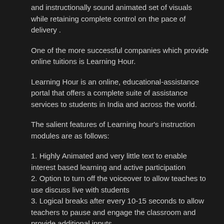and instructionally sound animated set of visuals while retaining complete control on the pace of delivery .
One of the more successful companies which provide online tuitions is Learning Hour.
Learning Hour is an online, educational-assistance portal that offers a complete suite of assistance services to students in India and across the world.
The salient features of Learning hour's instruction modules are as follows:
1. Highly Animated and very little text to enable interest based learning and active participation
2. Option to turn off the voiceover to allow teaches to use discuss live with students
3. Logical breaks after every 10-15 seconds to allow teachers to pause and engage the classroom and provide additional inputs.
4. Instructionally designed to allow the content to adapt to